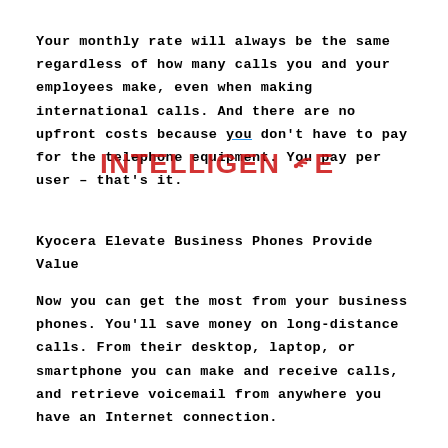Your monthly rate will always be the same regardless of how many calls you and your employees make, even when making international calls. And there are no upfront costs because you don't have to pay for the telephone equipment. You pay per user – that's it.
Kyocera Elevate Business Phones Provide Value
Now you can get the most from your business phones. You'll save money on long-distance calls. From their desktop, laptop, or smartphone you can make and receive calls, and retrieve voicemail from anywhere you have an Internet connection.